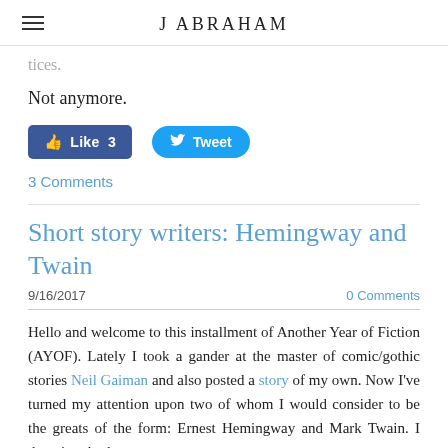J ABRAHAM
tices.
Not anymore.
[Figure (other): Facebook Like button showing 'Like 3' and Twitter Tweet button]
3 Comments
Short story writers: Hemingway and Twain
9/16/2017
0 Comments
Hello and welcome to this installment of Another Year of Fiction (AYOF). Lately I took a gander at the master of comic/gothic stories Neil Gaiman and also posted a story of my own. Now I've turned my attention upon two of whom I would consider to be the greats of the form: Ernest Hemingway and Mark Twain. I dove into both